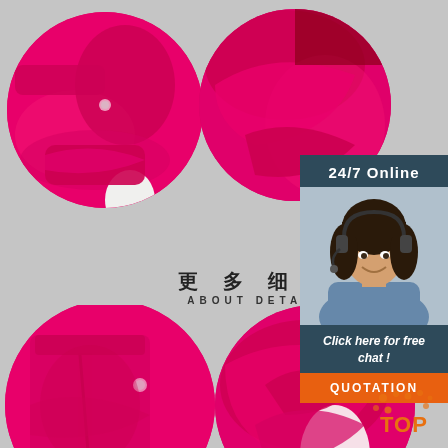[Figure (photo): Top-left circular detail photo of pink/red fabric shirt sleeve cuff with button]
[Figure (photo): Top-right circular detail photo of pink/red fabric shirt sleeve shoulder area]
更多细节
ABOUT DETAILS
[Figure (photo): Bottom-left circular detail photo of pink/red shirt pocket with button]
[Figure (photo): Bottom-right circular detail photo of pink/red shirt collar]
[Figure (photo): Customer service sidebar: 24/7 Online, woman with headset, Click here for free chat!, QUOTATION button]
[Figure (logo): TOP logo with orange dots in bottom-right corner]